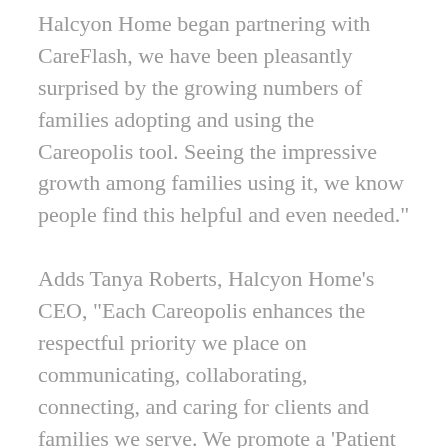Halcyon Home began partnering with CareFlash, we have been pleasantly surprised by the growing numbers of families adopting and using the Careopolis tool. Seeing the impressive growth among families using it, we know people find this helpful and even needed."
Adds Tanya Roberts, Halcyon Home's CEO, "Each Careopolis enhances the respectful priority we place on communicating, collaborating, connecting, and caring for clients and families we serve. We promote a 'Patient and Family First' culture of educating people about the harmoniousness and timeliness of our